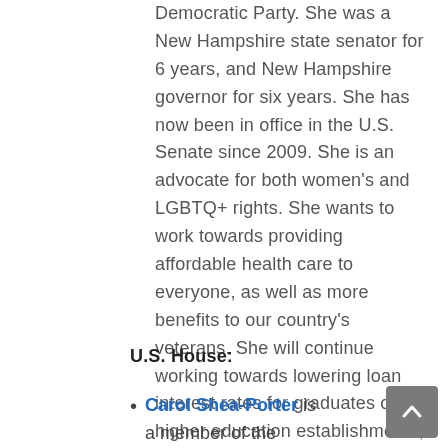Democratic Party. She was a New Hampshire state senator for 6 years, and New Hampshire governor for six years. She has now been in office in the U.S. Senate since 2009. She is an advocate for both women's and LGBTQ+ rights. She wants to work towards providing affordable health care to everyone, as well as more benefits to our country's veterans. She will continue working towards lowering loan interest rates for graduates of higher education establishments, and she has made environmental conservation and sustainable energy a top priority.
U.S. House:
Carol Shea-Porter is a member of the Democratic Party, and a UNH Alum! She